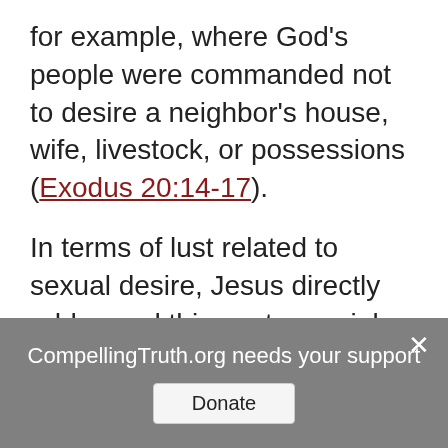for example, where God's people were commanded not to desire a neighbor's house, wife, livestock, or possessions (Exodus 20:14-17).
In terms of lust related to sexual desire, Jesus directly addressed this controversial topic in His Sermon on the Mount. Jewish tradition often taught that only the action of adultery was sinful. Yet Jesus spoke more directly to the heart, teaching, "You have heard that it was said, 'You shall not commit adultery.'"
CompellingTruth.org needs your support  Donate